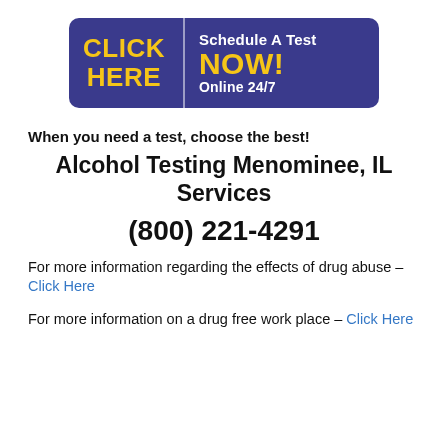[Figure (other): Blue banner button with 'CLICK HERE' in yellow on the left and 'Schedule A Test NOW! Online 24/7' in white and yellow on the right]
When you need a test, choose the best!
Alcohol Testing Menominee, IL Services
(800) 221-4291
For more information regarding the effects of drug abuse – Click Here
For more information on a drug free work place – Click Here